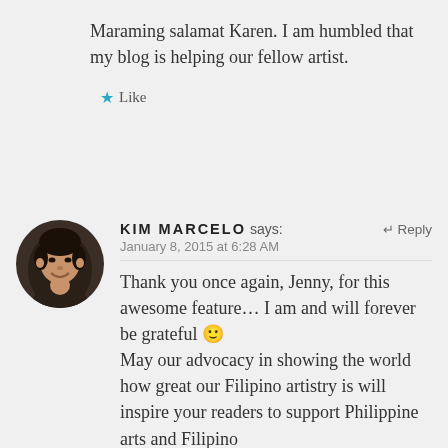Maraming salamat Karen. I am humbled that my blog is helping our fellow artist.
★ Like
KIM MARCELO says:
January 8, 2015 at 6:28 AM
[Figure (photo): Circular avatar photo of Kim Marcelo, a man smiling, dark background]
Thank you once again, Jenny, for this awesome feature... I am and will forever be grateful 🙂 May our advocacy in showing the world how great our Filipino artistry is will inspire your readers to support Philippine arts and Filipino